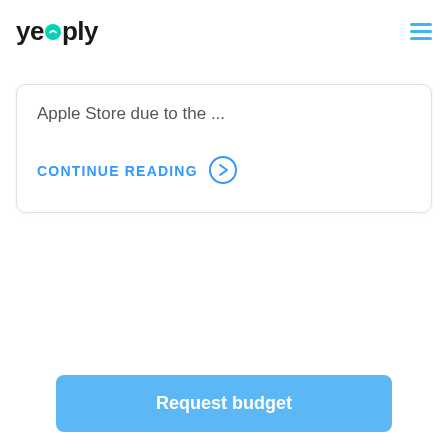yeeply
Apple Store due to the ...
CONTINUE READING →
Request budget